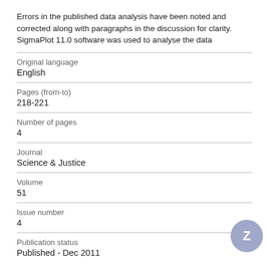Errors in the published data analysis have been noted and corrected along with paragraphs in the discussion for clarity. SigmaPlot 11.0 software was used to analyse the data
| Original language | English |
| Pages (from-to) | 218-221 |
| Number of pages | 4 |
| Journal | Science & Justice |
| Volume | 51 |
| Issue number | 4 |
| Publication status | Published - Dec 2011 |